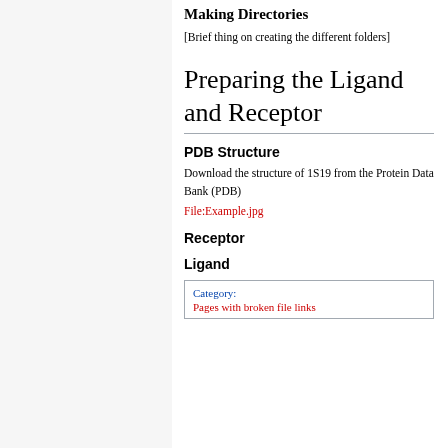Making Directories
[Brief thing on creating the different folders]
Preparing the Ligand and Receptor
PDB Structure
Download the structure of 1S19 from the Protein Data Bank (PDB)
File:Example.jpg
Receptor
Ligand
Category:
Pages with broken file links